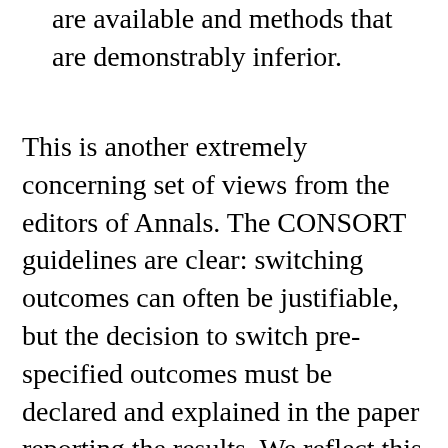are available and methods that are demonstrably inferior.
This is another extremely concerning set of views from the editors of Annals. The CONSORT guidelines are clear: switching outcomes can often be justifiable, but the decision to switch pre-specified outcomes must be declared and explained in the paper reporting the results. We reflect this in our coding scheme: a trial scores full marks if it switches outcomes, as long as the switches are discussed. This is for good